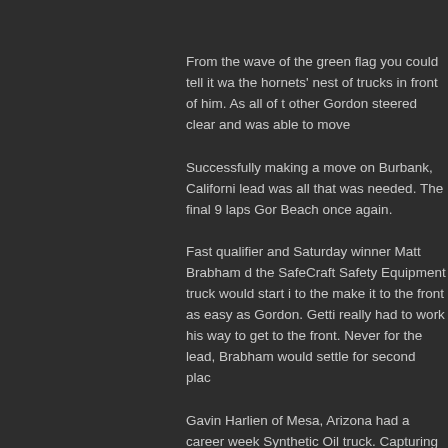From the wave of the green flag you could tell it wa... the hornets' nest of trucks in front of him. As all of t... other Gordon steered clear and was able to move ...
Successfully making a move on Burbank, Californi... lead was all that was needed. The final 9 laps Gor... Beach once again.
Fast qualifier and Saturday winner Matt Brabham d... the SafeCraft Safety Equipment truck would start i... to the make it to the front as easy as Gordon. Getti... really had to work his way to get to the front. Never... for the lead, Brabham would settle for second plac...
Gavin Harlien of Mesa, Arizona had a career week... Synthetic Oil truck. Capturing a third place finish o... position on the podium. Moving to the front of the f... spot, Harlien was able to hold off the charging truc... in a row.
LIVE/ United Fiber and Data driver Paul Morris of N...